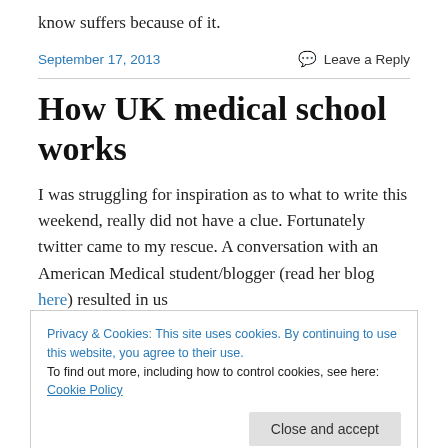know suffers because of it.
September 17, 2013    💬 Leave a Reply
How UK medical school works
I was struggling for inspiration as to what to write this weekend, really did not have a clue. Fortunately twitter came to my rescue. A conversation with an American Medical student/blogger (read her blog here) resulted in us
Privacy & Cookies: This site uses cookies. By continuing to use this website, you agree to their use.
To find out more, including how to control cookies, see here: Cookie Policy
Close and accept
explaining the course of medical education in the UK for